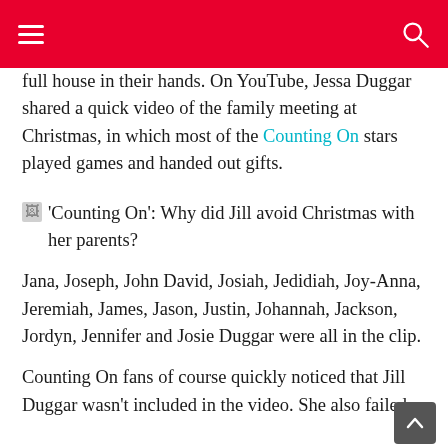full house in their hands. On YouTube, Jessa Duggar shared a quick video of the family meeting at Christmas, in which most of the Counting On stars played games and handed out gifts.
[Figure (photo): 'Counting On': Why did Jill avoid Christmas with her parents?]
Jana, Joseph, John David, Josiah, Jedidiah, Joy-Anna, Jeremiah, James, Jason, Justin, Johannah, Jackson, Jordyn, Jennifer and Josie Duggar were all in the clip.
Counting On fans of course quickly noticed that Jill Duggar wasn't included in the video. She also failed